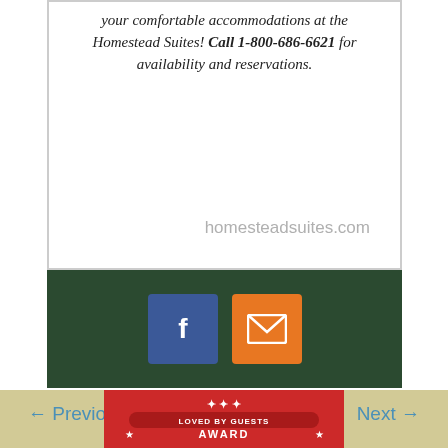your comfortable accommodations at the Homestead Suites! Call 1-800-686-6621 for availability and reservations.
homesteadsuites.com
[Figure (infographic): Dark green bar with Facebook icon (blue square with white f) and email icon (orange square with white envelope)]
← Previous
Next →
[Figure (illustration): Red award badge with white silhouette figures and text: LOVED BY GUESTS AWARD WINNER]